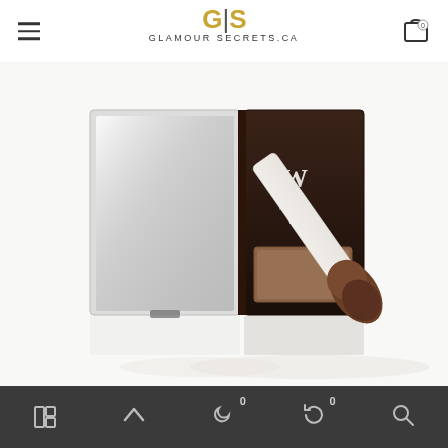GS GLAMOUR SECRETS.CA
[Figure (photo): Color Wow eyebrow powder compact open showing mirror and tan/brown powder pan with white applicator brush leaning against it, on white background]
Navigation bar with grid view, up arrow, recently viewed (0), history (0), and search icons